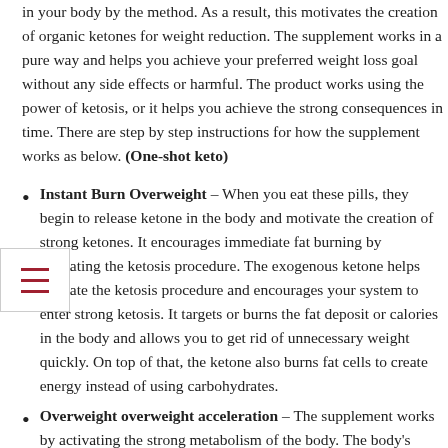in your body by the method. As a result, this motivates the creation of organic ketones for weight reduction. The supplement works in a pure way and helps you achieve your preferred weight loss goal without any side effects or harmful. The product works using the power of ketosis, or it helps you achieve the strong consequences in time. There are step by step instructions for how the supplement works as below. (One-shot keto)
Instant Burn Overweight – When you eat these pills, they begin to release ketone in the body and motivate the creation of strong ketones. It encourages immediate fat burning by activating the ketosis procedure. The exogenous ketone helps activate the ketosis procedure and encourages your system to enter strong ketosis. It targets or burns the fat deposit or calories in the body and allows you to get rid of unnecessary weight quickly. On top of that, the ketone also burns fat cells to create energy instead of using carbohydrates.
Overweight overweight acceleration – The supplement works by activating the strong metabolism of the body. The body's